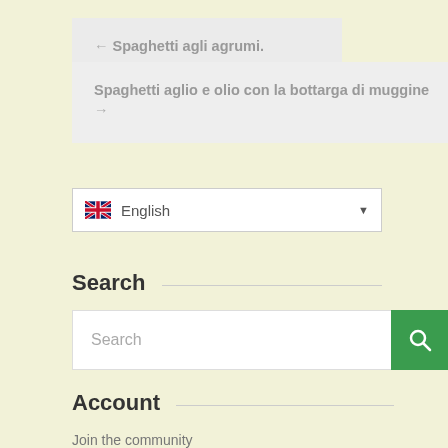← Spaghetti agli agrumi.
Spaghetti aglio e olio con la bottarga di muggine →
English
Search
Search
Account
Join the community